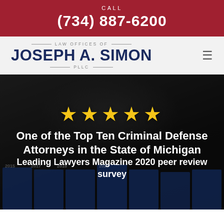CALL
(734) 887-6200
[Figure (logo): Law Offices of Joseph A. Simon PLLC logo with navy blue text and decorative lines]
[Figure (photo): Dark background hero section with trophy/award plaques and star rating with text about being one of the Top Ten Criminal Defense Attorneys in Michigan]
One of the Top Ten Criminal Defense Attorneys in the State of Michigan Leading Lawyers Magazine 2020 peer review survey